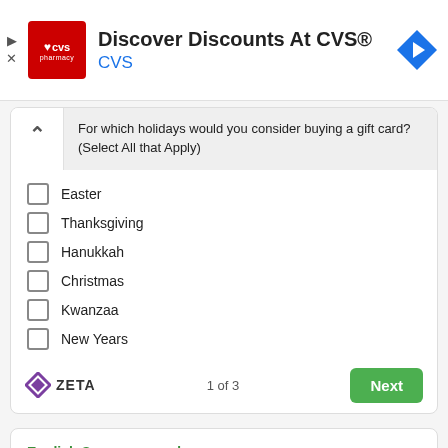[Figure (screenshot): CVS Pharmacy app advertisement banner with red logo, title 'Discover Discounts At CVS®', subtitle 'CVS' in blue, and a blue navigation arrow icon on the right. Ad controls (play/close) on the left.]
For which holidays would you consider buying a gift card? (Select All that Apply)
Easter
Thanksgiving
Hanukkah
Christmas
Kwanzaa
New Years
[Figure (logo): Zeta logo with diamond shape icon and ZETA text]
1 of 3
Next
English Synonyms and Antonyms
[Figure (other): 2-star rating out of 5 stars]